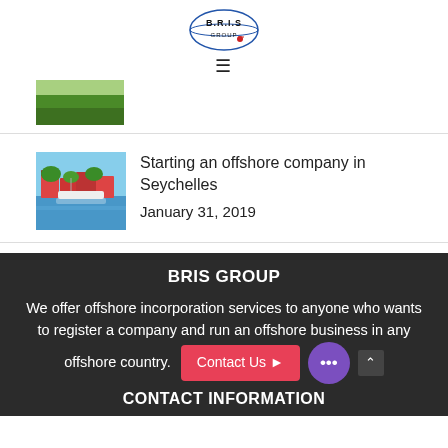B.R.I.S GROUP (logo and hamburger menu)
[Figure (photo): Partial green landscape thumbnail image (top cropped)]
[Figure (photo): Photo of Seychelles waterfront with villas and boats reflected in calm water]
Starting an offshore company in Seychelles
January 31, 2019
BRIS GROUP
We offer offshore incorporation services to anyone who wants to register a company and run an offshore business in any offshore country.
CONTACT INFORMATION